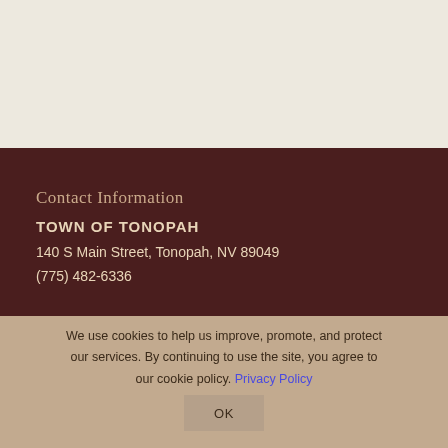Contact Information
TOWN OF TONOPAH
140 S Main Street, Tonopah, NV 89049
(775) 482-6336
We use cookies to help us improve, promote, and protect our services. By continuing to use the site, you agree to our cookie policy. Privacy Policy
OK